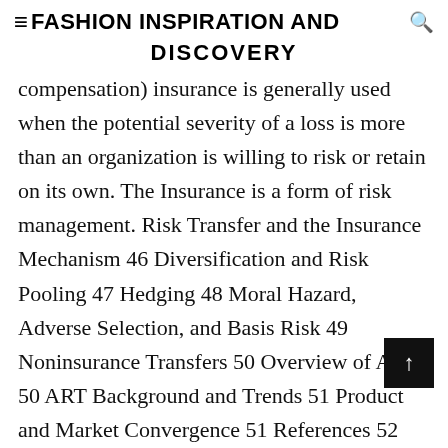≡FASHION INSPIRATION AND DISCOVERY
compensation) insurance is generally used when the potential severity of a loss is more than an organization is willing to risk or retain on its own. The Insurance is a form of risk management. Risk Transfer and the Insurance Mechanism 46 Diversification and Risk Pooling 47 Hedging 48 Moral Hazard, Adverse Selection, and Basis Risk 49 Noninsurance Transfers 50 Overview of ART 50 ART Background and Trends 51 Product and Market Convergence 51 References 52 Abstract: Active risk management is increasingly